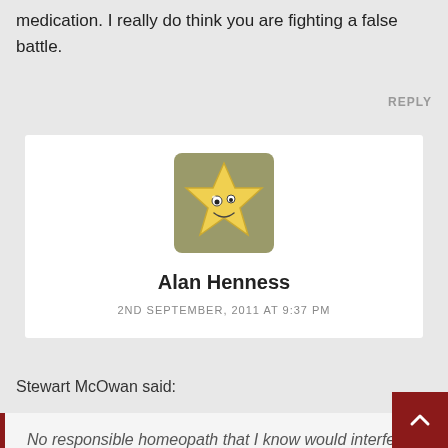medication. I really do think you are fighting a false battle.
REPLY
[Figure (illustration): Avatar image of a cartoon star character with a face, yellow color with olive-green background, displayed inside a white comment card.]
Alan Henness
2ND SEPTEMBER, 2011 AT 9:37 PM
Stewart McOwan said:
No responsible homeopath that I know would interfere with a patient taking orthodox treatment for HIV, malaria or TB.